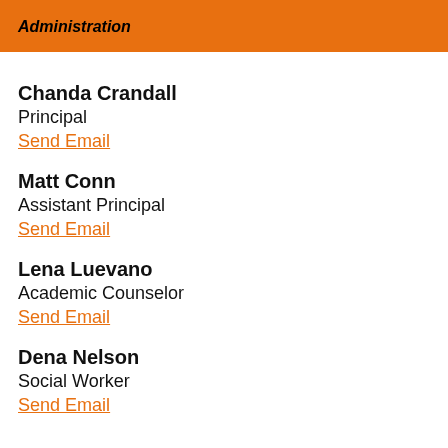Administration
Chanda Crandall
Principal
Send Email
Matt Conn
Assistant Principal
Send Email
Lena Luevano
Academic Counselor
Send Email
Dena Nelson
Social Worker
Send Email